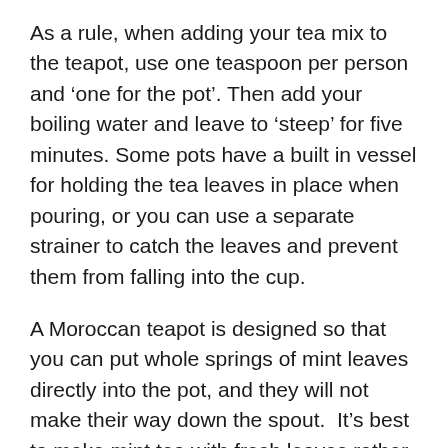As a rule, when adding your tea mix to the teapot, use one teaspoon per person and ‘one for the pot’. Then add your boiling water and leave to ‘steep’ for five minutes. Some pots have a built in vessel for holding the tea leaves in place when pouring, or you can use a separate strainer to catch the leaves and prevent them from falling into the cup.
A Moroccan teapot is designed so that you can put whole springs of mint leaves directly into the pot, and they will not make their way down the spout.  It’s best to make mint tea with fresh leaves rather than dried, for an extra fresh flavour.  Add honey to sweeten either to your pot or cup directly.
If you don’t have a teapot, use an individual tea strainer submerged into your cup of hot water. Leave to steep and remove before drinking, then